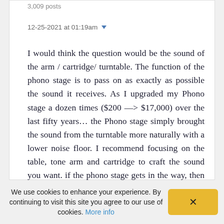3,009 posts
12-25-2021 at 01:19am ▾
I would think the question would be the sound of the arm / cartridge/ turntable. The function of the phono stage is to pass on as exactly as possible the sound it receives. As I upgraded my Phono stage a dozen times ($200 —> $17,000) over the last fifty years… the Phono stage simply brought the sound from the turntable more naturally with a lower noise floor. I recommend focusing on the table, tone arm and cartridge to craft the sound you want. if the phono stage gets in the way, then look at upgrading it.
We use cookies to enhance your experience. By continuing to visit this site you agree to our use of cookies. More info